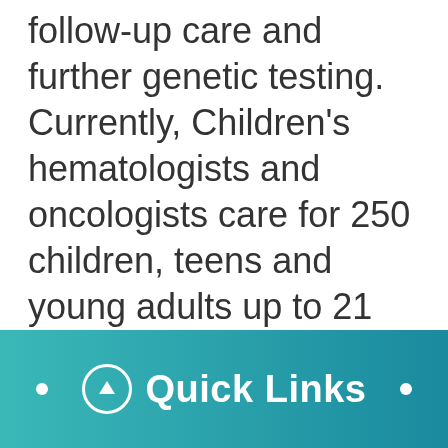follow-up care and further genetic testing. Currently, Children's hematologists and oncologists care for 250 children, teens and young adults up to 21 years of age with sickle cell disease.

The goal of UPMC Children's Hospital Sickle Cell Program
[Figure (infographic): Quick Links navigation bar with teal gradient background, circular up-arrow icon, and white text reading 'Quick Links' with decorative dots on either side]